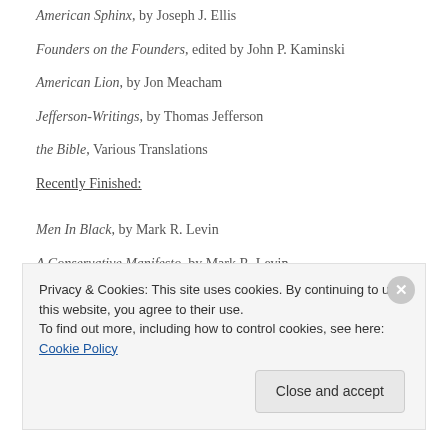American Sphinx, by Joseph J. Ellis
Founders on the Founders, edited by John P. Kaminski
American Lion, by Jon Meacham
Jefferson-Writings, by Thomas Jefferson
the Bible, Various Translations
Recently Finished:
Men In Black, by Mark R. Levin
A Conservative Manifesto, by Mark R. Levin
Privacy & Cookies: This site uses cookies. By continuing to use this website, you agree to their use.
To find out more, including how to control cookies, see here: Cookie Policy